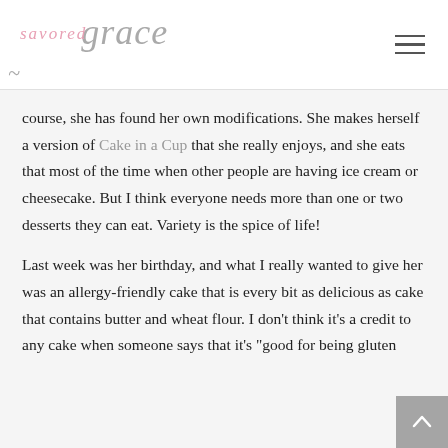savored grace
course, she has found her own modifications. She makes herself a version of Cake in a Cup that she really enjoys, and she eats that most of the time when other people are having ice cream or cheesecake. But I think everyone needs more than one or two desserts they can eat. Variety is the spice of life!
Last week was her birthday, and what I really wanted to give her was an allergy-friendly cake that is every bit as delicious as cake that contains butter and wheat flour. I don't think it's a credit to any cake when someone says that it's "good for being gluten